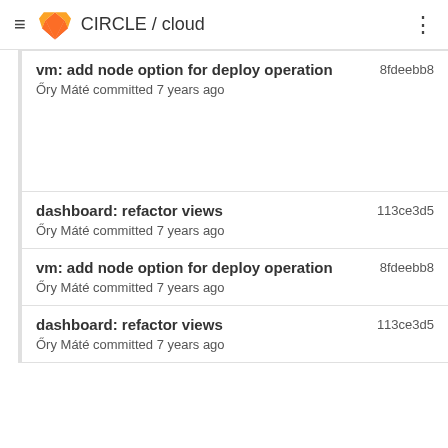CIRCLE / cloud
vm: add node option for deploy operation
Őry Máté committed 7 years ago
8fdeebb8
dashboard: refactor views
Őry Máté committed 7 years ago
113ce3d5
vm: add node option for deploy operation
Őry Máté committed 7 years ago
8fdeebb8
dashboard: refactor views
Őry Máté committed 7 years ago
113ce3d5